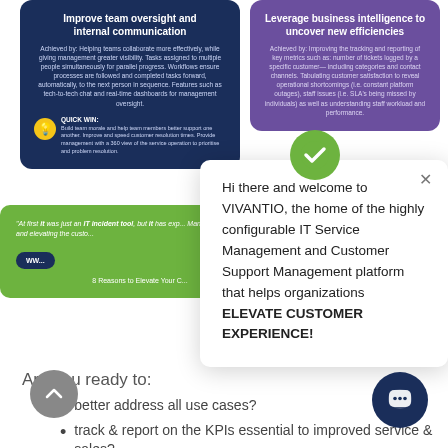[Figure (screenshot): Screenshot of Vivantio website with two info cards (navy and purple), a green testimonial card, and a chat popup overlay saying 'Hi there and welcome to VIVANTIO...']
Improve team oversight and internal communication
Achieved by: Helping teams collaborate more effectively, while giving management greater visibility. Tasks assigned to multiple people simultaneously for parallel progress. Workflows ensure processes are followed and completed tasks forward, automatically, to the next person in sequence. Features such as tech-to-tech chat and real-time dashboards for management oversight.
QUICK WIN: Build team morale and help team members better support one another. Improve and speed customer resolution times. Provide management with a 360 view of the service operation to prioritise and problem resolution.
Leverage business intelligence to uncover new efficiencies
Achieved by: Improving the tracking and reporting of key metrics such as: number of tickets logged by a specific customer— including categories and contact channels. Tabulating customer satisfaction to reveal operational shortcomings (i.e. constant platform outages), staff issues (i.e. SLA's being missed by individuals) as well as understanding staff workload and performance.
"At first it was just an IT incident tool, but it has exp... Management Platform and elevating the custo..."
WWV...
8 Reasons to Elevate Your C...
Hi there and welcome to VIVANTIO, the home of the highly configurable IT Service Management and Customer Support Management platform that helps organizations ELEVATE CUSTOMER EXPERIENCE!
Are you ready to:
better address all use cases?
track & report on the KPIs essential to improved service & sales?
tailor that service at the individual customer...